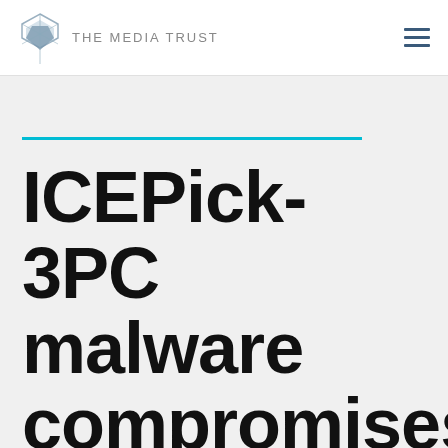THE MEDIA TRUST
ICEPick-3PC malware compromises third-party